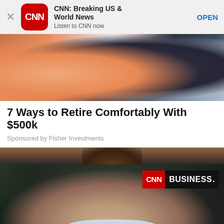[Figure (screenshot): App store banner for CNN: Breaking US & World News app with CNN logo, title, subtitle 'Listen to CNN now', close X button, and OPEN button]
[Figure (photo): Cropped photo of older couple smiling and laughing, partial faces visible]
7 Ways to Retire Comfortably With $500k
Sponsored by Fisher Investments
[Figure (photo): CNN Business video thumbnail showing older man with gray hair and mustache outdoors, with CNN Business logo badge in top right corner]